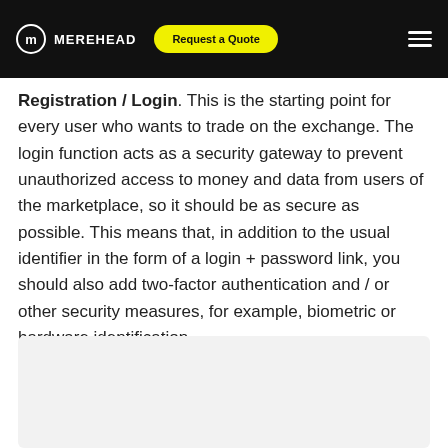MEREHEAD | Request a Quote
Registration / Login. This is the starting point for every user who wants to trade on the exchange. The login function acts as a security gateway to prevent unauthorized access to money and data from users of the marketplace, so it should be as secure as possible. This means that, in addition to the usual identifier in the form of a login + password link, you should also add two-factor authentication and / or other security measures, for example, biometric or hardware identification.
[Figure (illustration): Light gray placeholder image area at the bottom of the page]